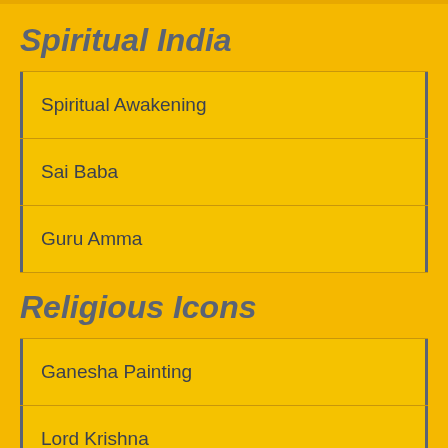Spiritual India
Spiritual Awakening
Sai Baba
Guru Amma
Religious Icons
Ganesha Painting
Lord Krishna
Kali